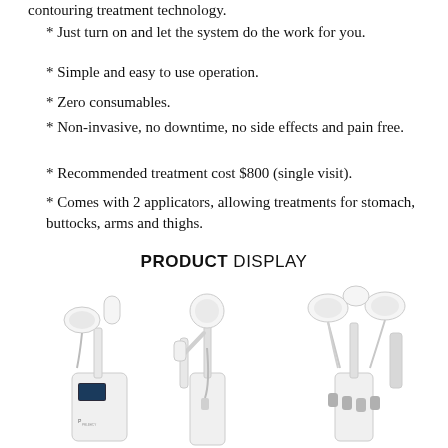contouring treatment technology.
* Just turn on and let the system do the work for you.
* Simple and easy to use operation.
* Zero consumables.
* Non-invasive, no downtime, no side effects and pain free.
* Recommended treatment cost $800 (single visit).
* Comes with 2 applicators, allowing treatments for stomach, buttocks, arms and thighs.
PRODUCT DISPLAY
[Figure (photo): Three views of a white medical body contouring device with applicators and handpieces shown from different angles.]